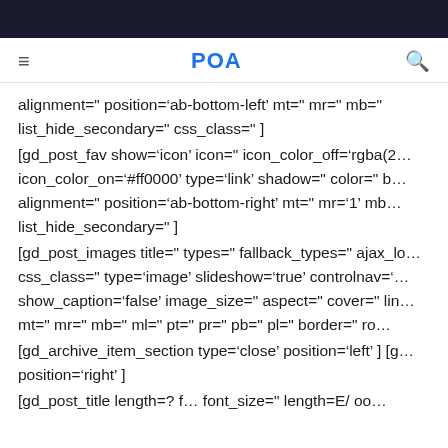POA
alignment=" position='ab-bottom-left' mt=" mr=" mb=" list_hide_secondary=" css_class=" ]
[gd_post_fav show='icon' icon=" icon_color_off='rgba(2… icon_color_on='#ff0000' type='link' shadow=" color=" b… alignment=" position='ab-bottom-right' mt=" mr='1' mb… list_hide_secondary=" ]
[gd_post_images title=" types=" fallback_types=" ajax_lo… css_class=" type='image' slideshow='true' controlnav='… show_caption='false' image_size=" aspect=" cover=" lin… mt=" mr=" mb=" ml=" pt=" pr=" pb=" pl=" border=" ro…
[gd_archive_item_section type='close' position='left' ] [g… position='right' ]
[gd_post_title length=? f… font_size=" length=E/ oo…